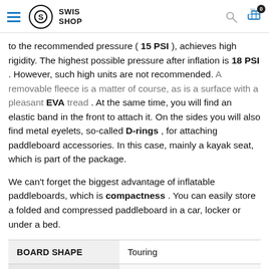SWIS SHOP
to the recommended pressure ( 15 PSI ), achieves high rigidity. The highest possible pressure after inflation is 18 PSI . However, such high units are not recommended. A removable fleece is a matter of course, as is a surface with a pleasant EVA tread . At the same time, you will find an elastic band in the front to attach it. On the sides you will also find metal eyelets, so-called D-rings , for attaching paddleboard accessories. In this case, mainly a kayak seat, which is part of the package.
We can't forget the biggest advantage of inflatable paddleboards, which is compactness . You can easily store a folded and compressed paddleboard in a car, locker or under a bed.
|  |  |
| --- | --- |
| BOARD SHAPE | Touring |
| BOARD LENGTH | 11' 6"/354 cm |
| BOARD WIDTH | 32" / 84cm |